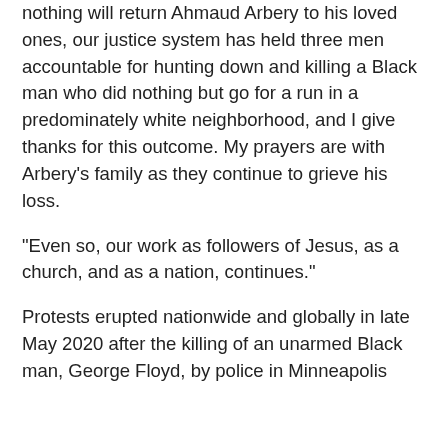nothing will return Ahmaud Arbery to his loved ones, our justice system has held three men accountable for hunting down and killing a Black man who did nothing but go for a run in a predominately white neighborhood, and I give thanks for this outcome. My prayers are with Arbery's family as they continue to grieve his loss.
“Even so, our work as followers of Jesus, as a church, and as a nation, continues.”
Protests erupted nationwide and globally in late May 2020 after the killing of an unarmed Black man, George Floyd, by police in Minneapolis